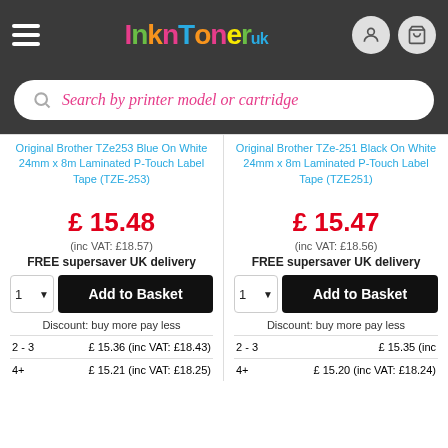InknToner UK
Search by printer model or cartridge
Original Brother TZe253 Blue On White 24mm x 8m Laminated P-Touch Label Tape (TZE-253)
Original Brother TZe-251 Black On White 24mm x 8m Laminated P-Touch Label Tape (TZE251)
£ 15.48
(inc VAT: £18.57)
FREE supersaver UK delivery
£ 15.47
(inc VAT: £18.56)
FREE supersaver UK delivery
Discount: buy more pay less
Discount: buy more pay less
| Qty | Price |
| --- | --- |
| 2 - 3 | £ 15.36 (inc VAT: £18.43) |
| 4+ | £ 15.21 (inc VAT: £18.25) |
| Qty | Price |
| --- | --- |
| 2 - 3 | £ 15.35 (inc... |
| 4+ | £ 15.20 (inc VAT: £18.24) |